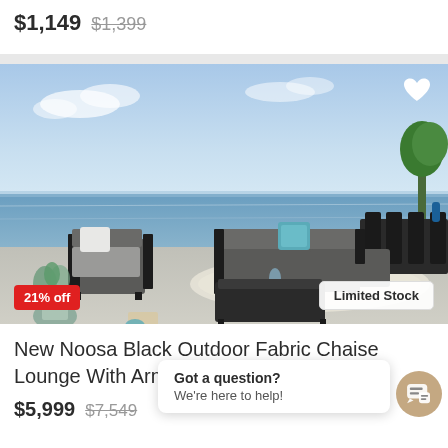$1,149 $1,399
[Figure (photo): Outdoor patio furniture set with black frame sectional sofa, armchair, ottoman, and dining table, set against a ocean/beach background. A heart/wishlist icon is visible in the top right corner. A red '21% off' badge is in the bottom left and a 'Limited Stock' badge in the bottom right.]
New Noosa Black Outdoor Fabric Chaise Lounge With Armchair & Ottoman
$5,999 $7,549
Got a question?
We're here to help!